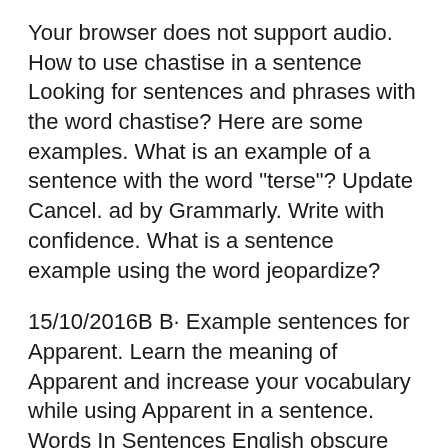Your browser does not support audio. How to use chastise in a sentence Looking for sentences and phrases with the word chastise? Here are some examples. What is an example of a sentence with the word "terse"? Update Cancel. ad by Grammarly. Write with confidence. What is a sentence example using the word jeopardize?
15/10/2016B B· Example sentences for Apparent. Learn the meaning of Apparent and increase your vocabulary while using Apparent in a sentence. Words In Sentences English obscure words and etymology resources: online dictionary of weird and unusual words,